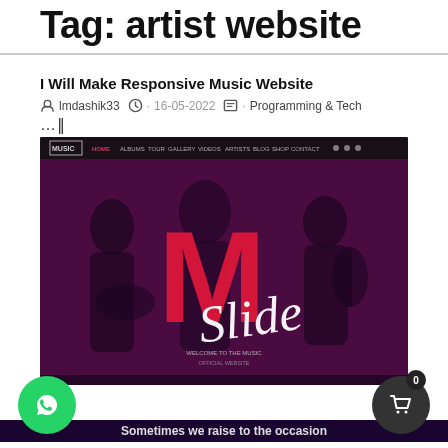Tag: artist website
I Will Make Responsive Music Website
lmdashik33 · 16-05-2022 · Programming & Tech
[Figure (screenshot): Screenshot of a music website template called 'M Slide' showing a band performing on stage with purple/dark overlay. Navigation bar at top with MUSIC logo, HOME, ALBUMS, TOUR, GALLERY, VIDEOS, ARTISTS, BLOG, SHOP, CONTACT menu items. Large red M letter and white script 'Slide' text overlay. Welcome to the music official website text at bottom.]
Sometimes we raise to the occasion